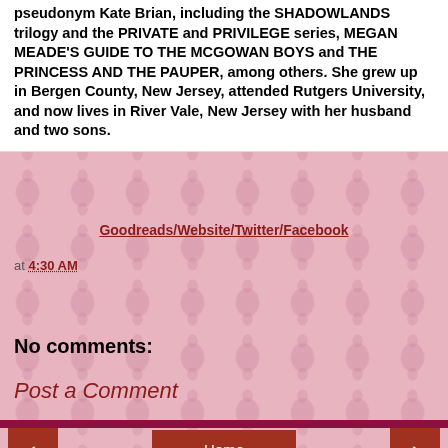pseudonym Kate Brian, including the SHADOWLANDS trilogy and the PRIVATE and PRIVILEGE series, MEGAN MEADE'S GUIDE TO THE MCGOWAN BOYS and THE PRINCESS AND THE PAUPER, among others. She grew up in Bergen County, New Jersey, attended Rutgers University, and now lives in River Vale, New Jersey with her husband and two sons.
Goodreads/Website/Twitter/Facebook
at 4:30 AM
Share
No comments:
Post a Comment
Home
View web version
Powered by Blogger.